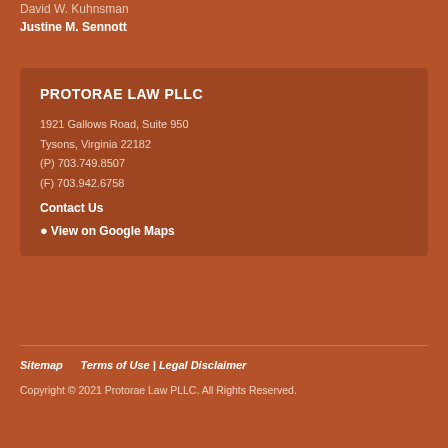David W. Kuhnsman
Justine M. Sennott
PROTORAE LAW PLLC
1921 Gallows Road, Suite 950
Tysons, Virginia 22182
(P) 703.749.8507
(F) 703.942.6758
Contact Us
View on Google Maps
Sitemap   Terms of Use | Legal Disclaimer
Copyright © 2021 Protorae Law PLLC. All Rights Reserved.